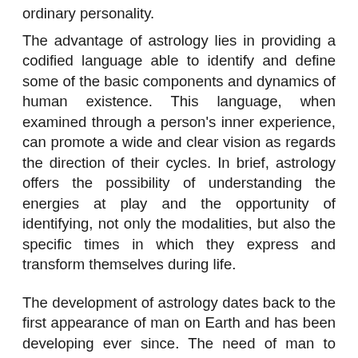ordinary personality.
The advantage of astrology lies in providing a codified language able to identify and define some of the basic components and dynamics of human existence. This language, when examined through a person's inner experience, can promote a wide and clear vision as regards the direction of their cycles. In brief, astrology offers the possibility of understanding the energies at play and the opportunity of identifying, not only the modalities, but also the specific times in which they express and transform themselves during life.
The development of astrology dates back to the first appearance of man on Earth and has been developing ever since. The need of man to communicate with their fellows produced a series of gestures and sounds that was later translated into specific alphabetical languages. The need to transmit